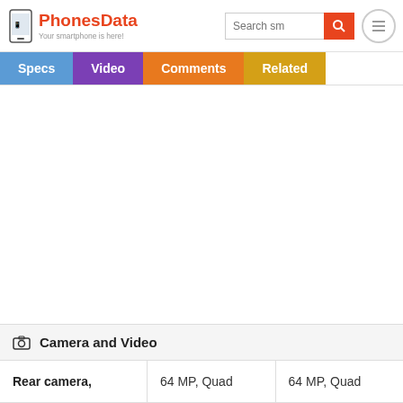[Figure (screenshot): PhonesData website header with logo, search bar, and hamburger menu]
[Figure (screenshot): Navigation tabs: Specs (blue), Video (purple), Comments (orange), Related (yellow)]
| Camera and Video |  |  |
| --- | --- | --- |
| Rear camera, | 64 MP, Quad | 64 MP, Quad |